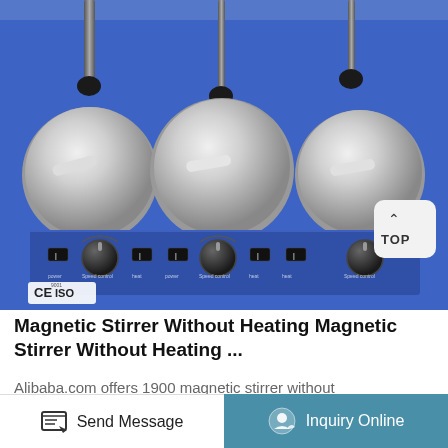[Figure (photo): A blue triple magnetic stirrer without heating unit, showing three circular stainless steel hot plate surfaces on top with magnetic stirrer bars, three vertical rods rising from the plates, and a control panel with toggle switches and rotary knobs on the front. CE and ISO certification logos visible at bottom left. A 'TOP' button visible at bottom right.]
Magnetic Stirrer Without Heating Magnetic Stirrer Without Heating ...
Alibaba.com offers 1900 magnetic stirrer without